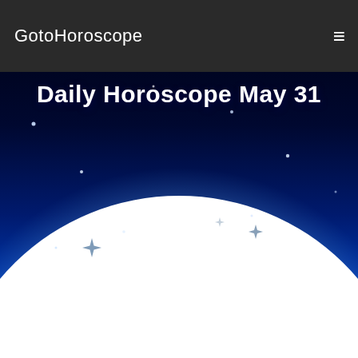GotoHoroscope
[Figure (illustration): Night sky hero banner with deep blue/dark background, stars scattered, large white glowing orb (planet or moon) rising from bottom center creating a bright horizon glow, transitioning from dark blue/black at top to bright white at bottom]
Daily Horoscope May 31